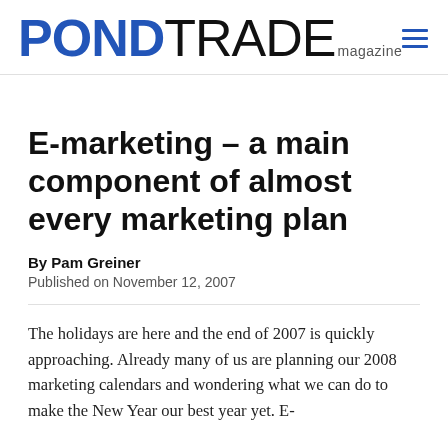PONDTRADE magazine
E-marketing – a main component of almost every marketing plan
By Pam Greiner
Published on November 12, 2007
The holidays are here and the end of 2007 is quickly approaching. Already many of us are planning our 2008 marketing calendars and wondering what we can do to make the New Year our best year yet. E-